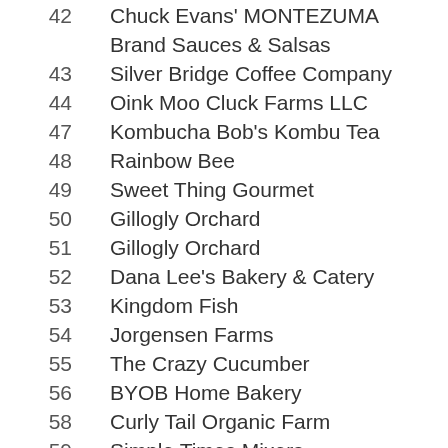42   Chuck Evans' MONTEZUMA Brand Sauces & Salsas
43   Silver Bridge Coffee Company
44   Oink Moo Cluck Farms LLC
47   Kombucha Bob's Kombu Tea
48   Rainbow Bee
49   Sweet Thing Gourmet
50   Gillogly Orchard
51   Gillogly Orchard
52   Dana Lee's Bakery & Catery
53   Kingdom Fish
54   Jorgensen Farms
55   The Crazy Cucumber
56   BYOB Home Bakery
58   Curly Tail Organic Farm
59   Simple Times Mixers
60   JNA BREAD BAKERY
61   Ohio Bison Farm
62   Honeyrun Farm